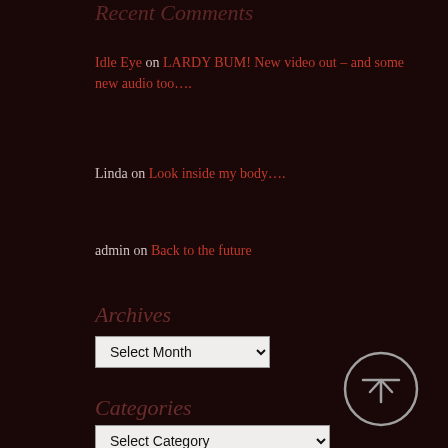Recent Comments
Idle Eye on LARDY BUM! New video out – and some new audio too….
Linda on Look inside my body….
admin on Back to the future
Archives
Select Month (dropdown)
Categories
Select Category (dropdown)